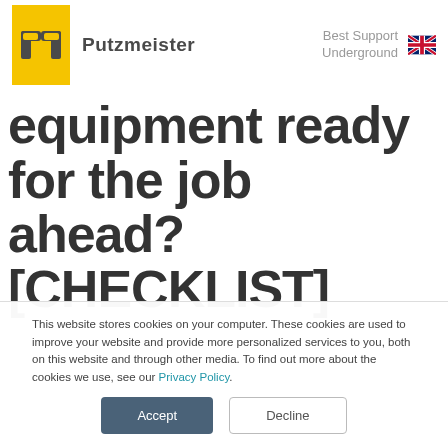[Figure (logo): Putzmeister logo: yellow rectangle with PM elephant icon, followed by 'Putzmeister' text. Right side shows 'Best Support Underground' text and UK flag.]
equipment ready for the job ahead? [CHECKLIST]
This website stores cookies on your computer. These cookies are used to improve your website and provide more personalized services to you, both on this website and through other media. To find out more about the cookies we use, see our Privacy Policy.
Accept  Decline